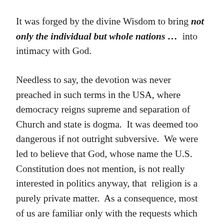It was forged by the divine Wisdom to bring not only the individual but whole nations …  into intimacy with God.
Needless to say, the devotion was never preached in such terms in the USA, where democracy reigns supreme and separation of Church and state is dogma.  It was deemed too dangerous if not outright subversive.  We were led to believe that God, whose name the U.S. Constitution does not mention, is not really interested in politics anyway, that  religion is a purely private matter.  As a consequence, most of us are familiar only with the requests which our Lord made to St. Margaret Mary Alacoque regarding the